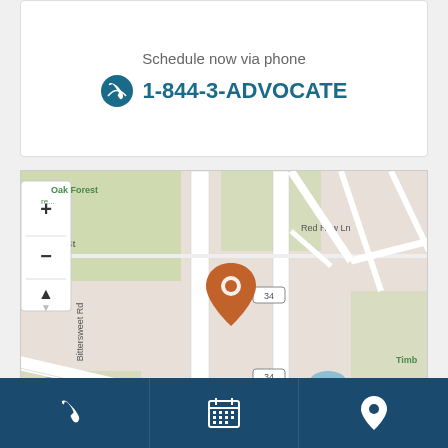Schedule now via phone
1-844-3-ADVOCATE
[Figure (map): Interactive map showing location pin on Bittersweet Rd near Dean St and Route 34. Map controls (zoom in/out, navigation arrow) visible on left side. Streets labeled include Bittersweet Rd, Dean St, Red Haw Ln, Thornapple Rd, Thornly Rd. Route 34 shown twice. Blue water features and green park areas visible. Orange/brown location pin in center of map.]
[Figure (infographic): Bottom navigation bar with three icons on dark blue background: phone icon (left), calendar/schedule icon (center), location pin icon (right)]